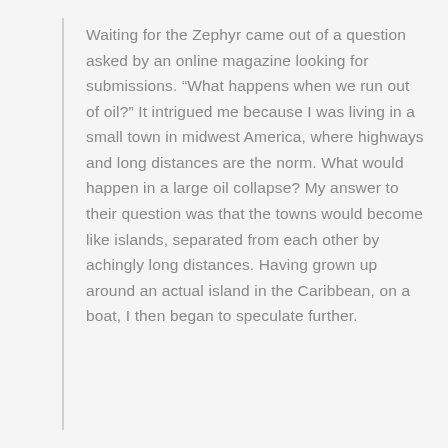Waiting for the Zephyr came out of a question asked by an online magazine looking for submissions. “What happens when we run out of oil?” It intrigued me because I was living in a small town in midwest America, where highways and long distances are the norm. What would happen in a large oil collapse? My answer to their question was that the towns would become like islands, separated from each other by achingly long distances. Having grown up around an actual island in the Caribbean, on a boat, I then began to speculate further.